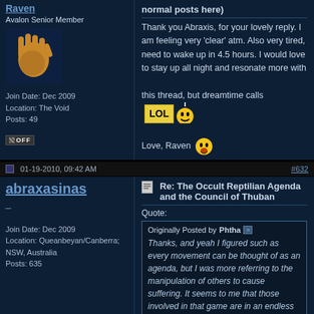Raven
Avalon Senior Member
[Figure (illustration): Hand/palm emoji avatar image]
Join Date: Dec 2009
Location: The Void
Posts: 49
normal posts here)
Thank you Abraxis, for your lovely reply. I am feeling very 'clear' atm. Also very tired, need to wake up in 4.5 hours. I would love to stay up all night and resonate more with this thread, but dreamtime calls [LOL emoji] Love, Raven [smiley]
offline badge
01-19-2010, 09:42 AM
#632
abraxasinas
Join Date: Dec 2009
Location: Queanbeyan/Canberra; NSW, Australia
Posts: 635
Re: The Occult Reptilian Agenda and the Council of Thuban
Quote:
Originally Posted by Phtha
Thanks, and yeah I figured such as every movement can be thought of as an agenda, but I was more referring to the manipulation of others to cause suffering. It seems to me that those involved in that game are in an endless circle until they themselves stop the manipulation. Above/below,